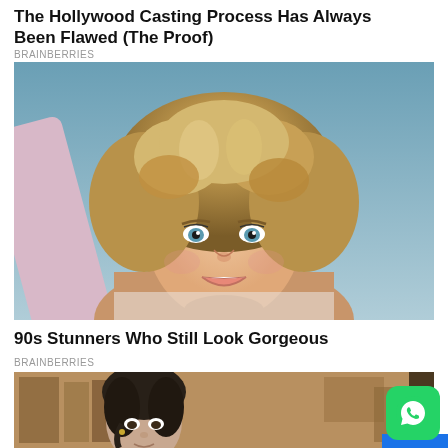The Hollywood Casting Process Has Always Been Flawed (The Proof)
BRAINBERRIES
[Figure (photo): Vintage photo of a smiling woman with curly feathered blonde hair, wearing a light-colored top, against a blue-grey background. 1980s style portrait.]
90s Stunners Who Still Look Gorgeous
BRAINBERRIES
[Figure (photo): Vintage photo of a young woman with dark braided hair, indoors with bookshelves and artwork in the background. WhatsApp icon overlay in bottom right corner.]